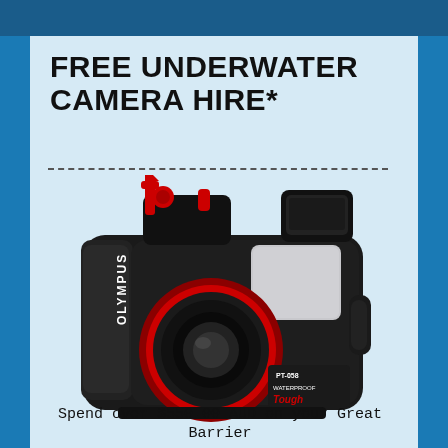FREE UNDERWATER CAMERA HIRE*
[Figure (photo): Olympus PT-058 waterproof underwater camera housing (Tough series) with red lens ring, red controls, and black body]
Spend over $550.00 AUD on your Great Barrier